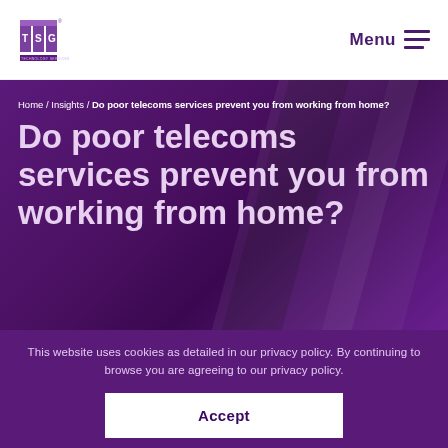[Figure (logo): TSG (Technology Services Group) logo — three vertical purple bars with letters T, S, G and small registered trademark symbol]
Menu
Home / Insights / Do poor telecoms services prevent you from working from home?
Do poor telecoms services prevent you from working from home?
This website uses cookies as detailed in our privacy policy. By continuing to browse you are agreeing to our privacy policy.
Accept